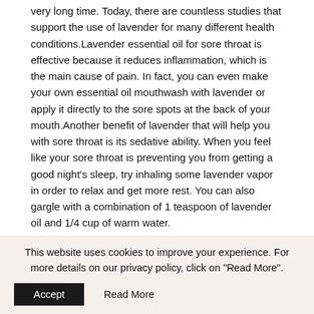very long time. Today, there are countless studies that support the use of lavender for many different health conditions.Lavender essential oil for sore throat is effective because it reduces inflammation, which is the main cause of pain. In fact, you can even make your own essential oil mouthwash with lavender or apply it directly to the sore spots at the back of your mouth.Another benefit of lavender that will help you with sore throat is its sedative ability. When you feel like your sore throat is preventing you from getting a good night's sleep, try inhaling some lavender vapor in order to relax and get more rest. You can also gargle with a combination of 1 teaspoon of lavender oil and 1/4 cup of warm water.
2. Peppermint Essential Oil for Sore Throat
This website uses cookies to improve your experience. For more details on our privacy policy, click on "Read More".